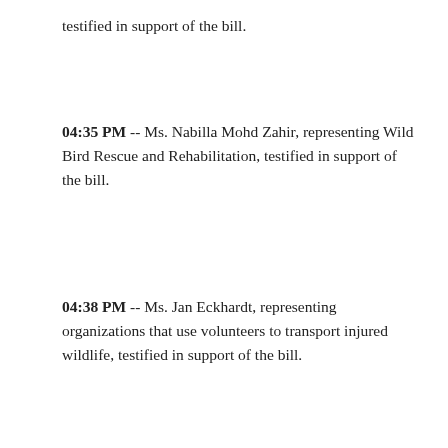testified in support of the bill.
04:35 PM -- Ms. Nabilla Mohd Zahir, representing Wild Bird Rescue and Rehabilitation, testified in support of the bill.
04:38 PM -- Ms. Jan Eckhardt, representing organizations that use volunteers to transport injured wildlife, testified in support of the bill.